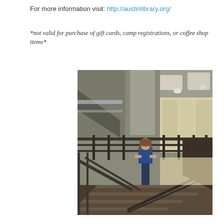For more information visit: http://austinlibrary.org/
*not valid for purchase of gift cards, camp registrations, or coffee shop items*
[Figure (photo): A person standing on a balcony/mezzanine level inside a modern library building with concrete columns, metal railings, staircases, and glass walls, looking upward.]